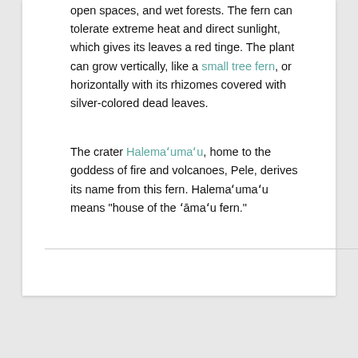open spaces, and wet forests. The fern can tolerate extreme heat and direct sunlight, which gives its leaves a red tinge. The plant can grow vertically, like a small tree fern, or horizontally with its rhizomes covered with silver-colored dead leaves.
The crater Halemaʻumaʻu, home to the goddess of fire and volcanoes, Pele, derives its name from this fern. Halemaʻumaʻu means “house of the ʻāmaʻu fern.”